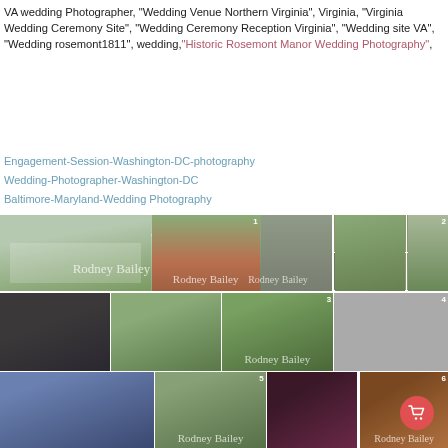VA wedding Photographer, "Wedding Venue Northern Virginia", Virginia, "Virginia Wedding Ceremony Site", "Wedding Ceremony Reception Virginia", "Wedding site VA", "Wedding rosemont1811", wedding,"Historic Rosemont Manor Wedding Photography",
Engagement-Session-Washington-DC-photography
Wedding-Photographer-Washington-DC
Baltimore-Maryland-Wedding Photography
[Figure (photo): Grid of wedding photography images in 3 rows showing venue exterior, ceremony scenes, couples portraits, and reception decor with Rodney Bailey watermarks]
[Figure (photo): Shopping cart button overlay (red circle with cart icon)]